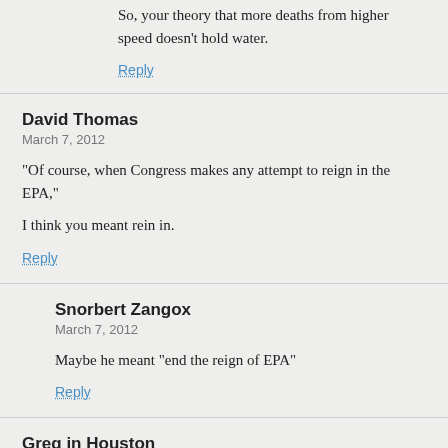So, your theory that more deaths from higher speed doesn't hold water.
Reply
David Thomas
March 7, 2012
“Of course, when Congress makes any attempt to reign in the EPA,”
I think you meant rein in.
Reply
Snorbert Zangox
March 7, 2012
Maybe he meant “end the reign of EPA”
Reply
Greg in Houston
March 7, 2012